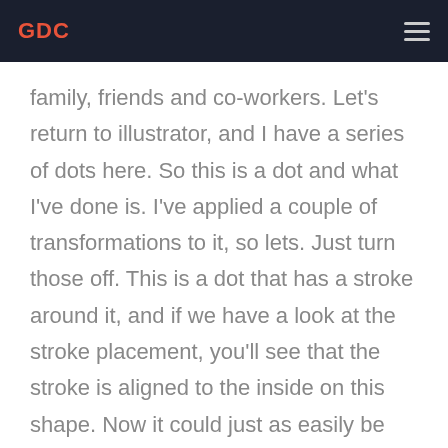GDC
family, friends and co-workers. Let's return to illustrator, and I have a series of dots here. So this is a dot and what I've done is. I've applied a couple of transformations to it, so lets. Just turn those off. This is a dot that has a stroke around it, and if we have a look at the stroke placement, you'll see that the stroke is aligned to the inside on this shape. Now it could just as easily be